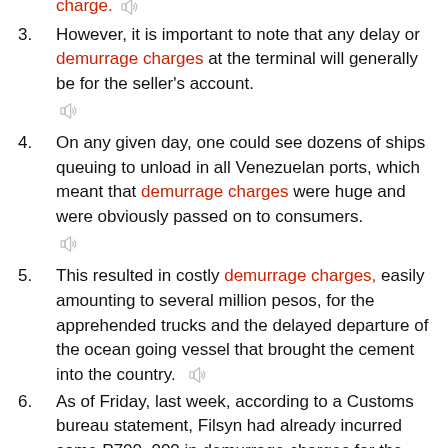charge. [speaker icon]
However, it is important to note that any delay or demurrage charges at the terminal will generally be for the seller's account. [speaker icon]
On any given day, one could see dozens of ships queuing to unload in all Venezuelan ports, which meant that demurrage charges were huge and were obviously passed on to consumers. [speaker icon]
This resulted in costly demurrage charges, easily amounting to several million pesos, for the apprehended trucks and the delayed departure of the ocean going vessel that brought the cement into the country. [speaker icon]
As of Friday, last week, according to a Customs bureau statement, Filsyn had already incurred some P700, 000 in demurrage charges for the trucks and roughly P3, 000, 000 in demurrage charges for the vessel. [speaker icon]
As of Friday, last week, according to a Customs bureau ...